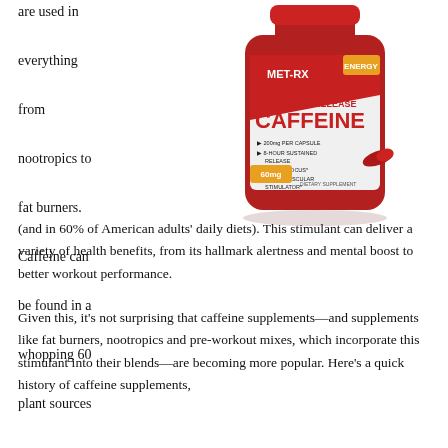are used in everything from nootropics to fat burners.
[Figure (photo): MET-RX Timed-Release Caffeine supplement bottle, red with white label, showing 200mg per capsule, 8-hour sustained release, mental focus, neuromuscular stimulator, dietary supplement, 60 capsules]
Caffeine can be found in a whopping 60 plant sources (and in 60% of American adults' daily diets). This stimulant can deliver a variety of health benefits, from its hallmark alertness and mental boost to better workout performance.
Given this, it’s not surprising that caffeine supplements—and supplements like fat burners, nootropics and pre-workout mixes, which incorporate this stimulant into their blends—are becoming more popular. Here’s a quick history of caffeine supplements,